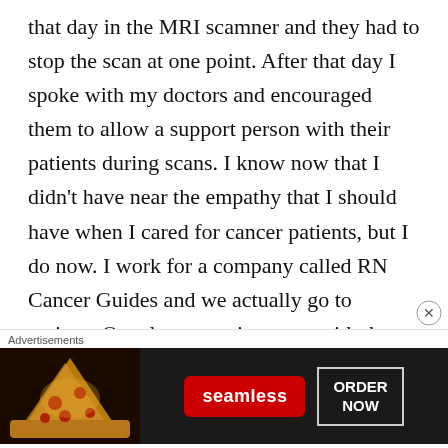that day in the MRI scamner and they had to stop the scan at one point. After that day I spoke with my doctors and encouraged them to allow a support person with their patients during scans. I know now that I didn't have near the empathy that I should have when I cared for cancer patients, but I do now. I work for a company called RN Cancer Guides and we actually go to patients Oncology appointments with them and help them understand everything. We
Advertisements
[Figure (other): Seamless food delivery advertisement banner with pizza image on left, red Seamless logo button in center, and 'ORDER NOW' button on right, on dark background]